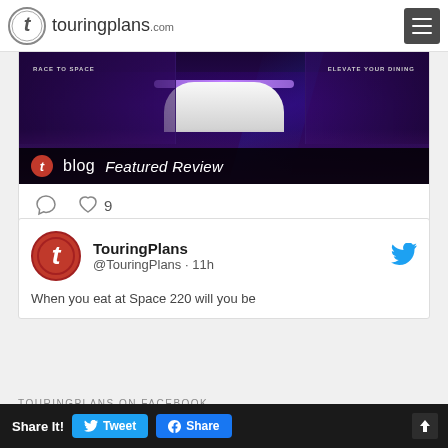touringplans.com
[Figure (screenshot): TouringPlans blog featured review image showing Space 220 restaurant interior with purple lighting, a curved white counter desk, 'RACE TO SPACE' and 'ELEVATE YOUR DINING' text overlays, and a blog Featured Review banner at the bottom]
9 (likes/hearts)
TouringPlans @TouringPlans · 11h When you eat at Space 220 will you be
TOURINGPLANS ON FACEBOOK
Share It! Tweet Share